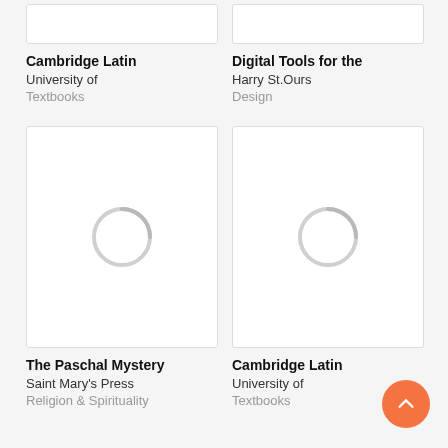[Figure (other): Partial book cover image top-left, white rectangle with thin border]
Cambridge Latin
University of
Textbooks
[Figure (other): Partial book cover image top-right, white rectangle with thin border]
Digital Tools for the
Harry St.Ours
Design
[Figure (other): Book cover placeholder with loading spinner ring, bottom-left]
The Paschal Mystery
Saint Mary's Press
Religion & Spirituality
[Figure (other): Book cover placeholder with loading spinner ring, bottom-right]
Cambridge Latin
University of
Textbooks